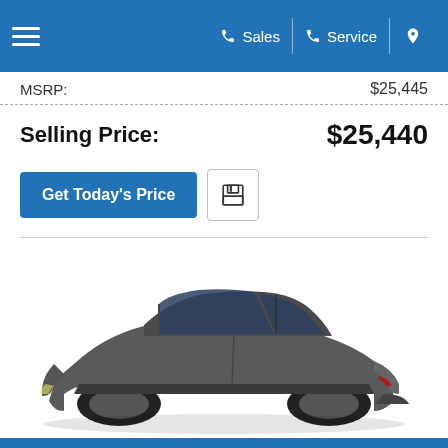Sales | Service | Location
MSRP: $25,445
Selling Price: $25,440
Get Today's Price
[Figure (photo): Side profile view of a gray Honda Civic hatchback with black wheels on a white background]